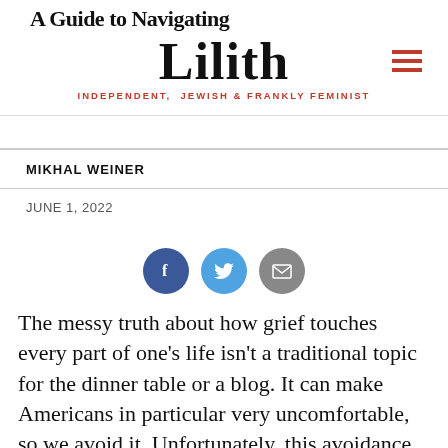A Guide to Navigating
Lilith
INDEPENDENT, JEWISH & FRANKLY FEMINIST
MIKHAL WEINER
JUNE 1, 2022
[Figure (other): Social share buttons: Facebook, Twitter, Email]
The messy truth about how grief touches every part of one's life isn't a traditional topic for the dinner table or a blog. It can make Americans in particular very uncomfortable, so we avoid it. Unfortunately, this avoidance leaves us ill-equipped to handle the death of a